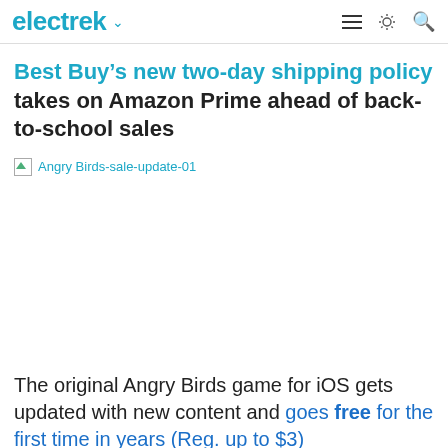electrek
Best Buy's new two-day shipping policy takes on Amazon Prime ahead of back-to-school sales
[Figure (illustration): Broken image placeholder labeled 'Angry Birds-sale-update-01']
The original Angry Birds game for iOS gets updated with new content and goes free for the first time in years (Reg. up to $3)